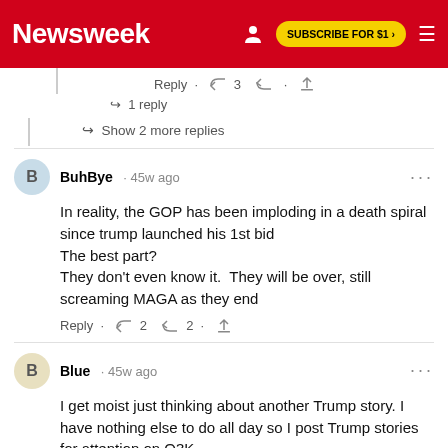Newsweek | SUBSCRIBE FOR $1 >
Reply · 👍 3 👎 · ⬆
↪ 1 reply
↪ Show 2 more replies
BuhBye · 45w ago
In reality, the GOP has been imploding in a death spiral since trump launched his 1st bid
The best part?
They don't even know it.  They will be over, still screaming MAGA as they end
Reply · 👍 2 👎 2 · ⬆
Blue · 45w ago
I get moist just thinking about another Trump story. I have nothing else to do all day so I post Trump stories for attention on Q3K